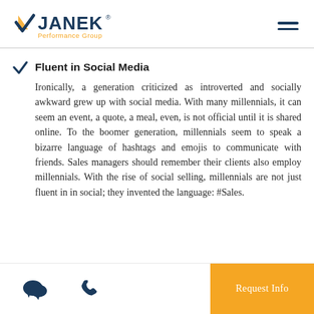JANEK Performance Group
Fluent in Social Media
Ironically, a generation criticized as introverted and socially awkward grew up with social media. With many millennials, it can seem an event, a quote, a meal, even, is not official until it is shared online. To the boomer generation, millennials seem to speak a bizarre language of hashtags and emojis to communicate with friends. Sales managers should remember their clients also employ millennials. With the rise of social selling, millennials are not just fluent in in social; they invented the language: #Sales.
Request Info